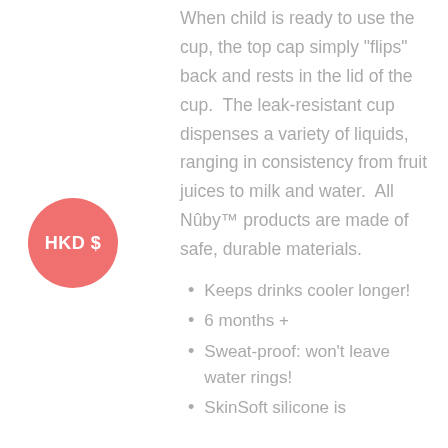[Figure (logo): A salmon/coral pink circle badge with white text reading 'HKD $', positioned on the left panel]
When child is ready to use the cup, the top cap simply “flips” back and rests in the lid of the cup.  The leak-resistant cup dispenses a variety of liquids, ranging in consistency from fruit juices to milk and water.  All Núby™ products are made of safe, durable materials.
Keeps drinks cooler longer!
6 months +
Sweat-proof: won’t leave water rings!
SkinSoft silicone is